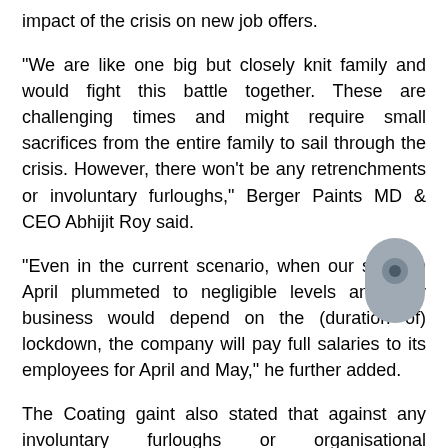impact of the crisis on new job offers.
"We are like one big but closely knit family and would fight this battle together. These are challenging times and might require small sacrifices from the entire family to sail through the crisis. However, there won't be any retrenchments or involuntary furloughs," Berger Paints MD & CEO Abhijit Roy said.
"Even in the current scenario, when our sales in April plummeted to negligible levels and May business would depend on the (duration of) lockdown, the company will pay full salaries to its employees for April and May," he further added.
The Coating gaint also stated that against any involuntary furloughs or organisational restructuring that may lead to downsizing of employees and consequent loss of livelihood during the time of widespread uncertainty.